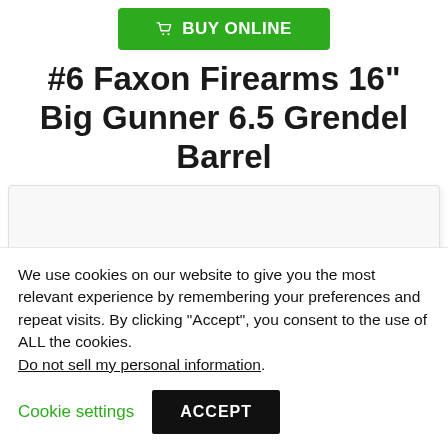BUY ONLINE
#6 Faxon Firearms 16" Big Gunner 6.5 Grendel Barrel
[Figure (other): White image placeholder area for product photo]
We use cookies on our website to give you the most relevant experience by remembering your preferences and repeat visits. By clicking “Accept”, you consent to the use of ALL the cookies.
Do not sell my personal information.
Cookie settings
ACCEPT